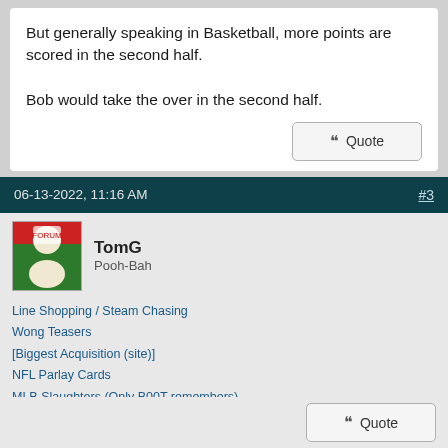But generally speaking in Basketball, more points are scored in the second half.

Bob would take the over in the second half.
06-13-2022, 11:16 AM
#3
TomG
Pooh-Bah
Line Shopping / Steam Chasing
Wong Teasers
[Biggest Acquisition (site)]
NFL Parlay Cards
MLB Slaughters (Only B00T remembers)
Correlated Parlays
Leveraged If Bets
Texas Rangers 2½ System
This website uses cookies to ensure you get the best experience and relevant advertisements while visiting. Learn more
Got it!